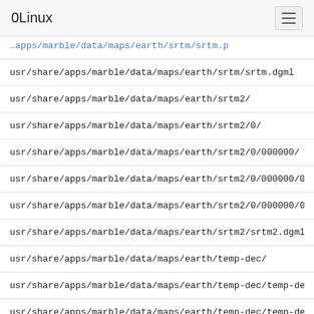0Linux
usr/share/apps/marble/data/maps/earth/srtm/srtm.dgml
usr/share/apps/marble/data/maps/earth/srtm2/
usr/share/apps/marble/data/maps/earth/srtm2/0/
usr/share/apps/marble/data/maps/earth/srtm2/0/000000/
usr/share/apps/marble/data/maps/earth/srtm2/0/000000/0
usr/share/apps/marble/data/maps/earth/srtm2/0/000000/0
usr/share/apps/marble/data/maps/earth/srtm2/srtm2.dgml
usr/share/apps/marble/data/maps/earth/temp-dec/
usr/share/apps/marble/data/maps/earth/temp-dec/temp-de
usr/share/apps/marble/data/maps/earth/temp-dec/temp-de